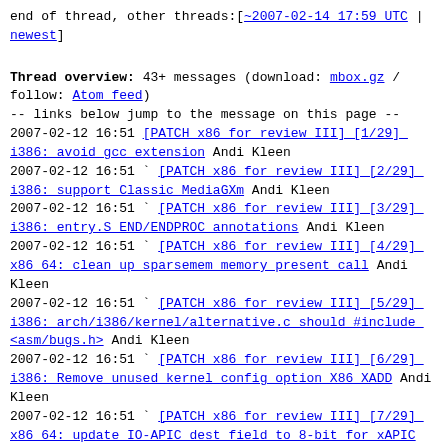end of thread, other threads: [~2007-02-14 17:59 UTC | newest]
Thread overview: 43+ messages (download: mbox.gz / follow: Atom feed)
-- links below jump to the message on this page --
2007-02-12 16:51 [PATCH x86 for review III] [1/29] i386: avoid gcc extension Andi Kleen
2007-02-12 16:51 ` [PATCH x86 for review III] [2/29] i386: support Classic MediaGXm Andi Kleen
2007-02-12 16:51 ` [PATCH x86 for review III] [3/29] i386: entry.S END/ENDPROC annotations Andi Kleen
2007-02-12 16:51 ` [PATCH x86 for review III] [4/29] x86 64: clean up sparsemem memory present call Andi Kleen
2007-02-12 16:51 ` [PATCH x86 for review III] [5/29] i386: arch/i386/kernel/alternative.c should #include <asm/bugs.h> Andi Kleen
2007-02-12 16:51 ` [PATCH x86 for review III] [6/29] i386: Remove unused kernel config option X86 XADD Andi Kleen
2007-02-12 16:51 ` [PATCH x86 for review III] [7/29] x86 64: update IO-APIC dest field to 8-bit for xAPIC Andi Kleen
2007-02-12 19:49   ` Eric W. Biederman
2007-02-12 16:51 ` [PATCH x86 for review III] [8/29] x86 64: avoid warning message livelock Andi Kleen
2007-02-12 16:51 ` [PATCH x86 for review III] [9/29] x86 64: Minor patch for compilation warning in x86 64 signal code Andi Kleen